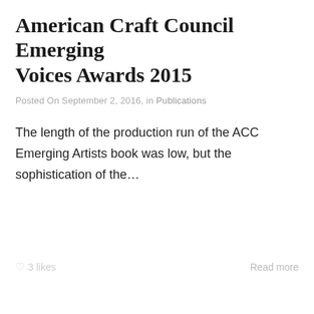American Craft Council Emerging Voices Awards 2015
Posted On September 2, 2016, in Publications
The length of the production run of the ACC Emerging Artists book was low, but the sophistication of the…
♡ 3 likes
Read more